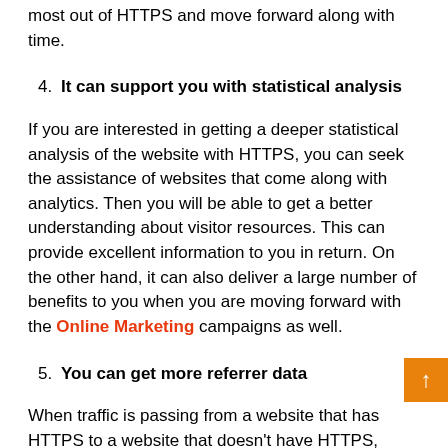most out of HTTPS and move forward along with time.
4. It can support you with statistical analysis
If you are interested in getting a deeper statistical analysis of the website with HTTPS, you can seek the assistance of websites that come along with analytics. Then you will be able to get a better understanding about visitor resources. This can provide excellent information to you in return. On the other hand, it can also deliver a large number of benefits to you when you are moving forward with the Online Marketing campaigns as well.
5. You can get more referrer data
When traffic is passing from a website that has HTTPS to a website that doesn't have HTTPS, there is a